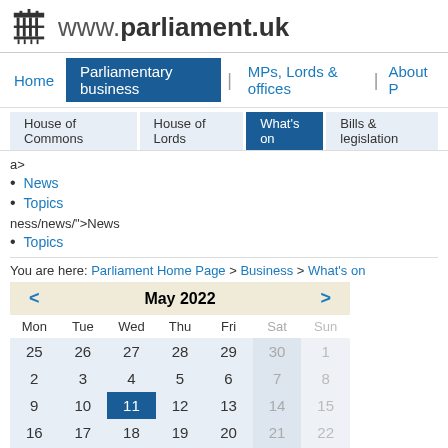www.parliament.uk
Home | Parliamentary business | MPs, Lords & offices | About P...
House of Commons | House of Lords | What's on | Bills & legislation
a>
News
Topics
ness/news/">News
Topics
You are here: Parliament Home Page > Business > What's on
| < | May 2022 | > |
| --- | --- | --- |
| Mon | Tue | Wed | Thu | Fri | Sat | Sun |
| 25 | 26 | 27 | 28 | 29 | 30 | 1 |
| 2 | 3 | 4 | 5 | 6 | 7 | 8 |
| 9 | 10 | 11 | 12 | 13 | 14 | 15 |
| 16 | 17 | 18 | 19 | 20 | 21 | 22 |
| 23 | 24 | 25 | 26 | 27 | 28 | 29 |
| 30 | 31 | 1 | 2 | 3 | 4 | 5 |